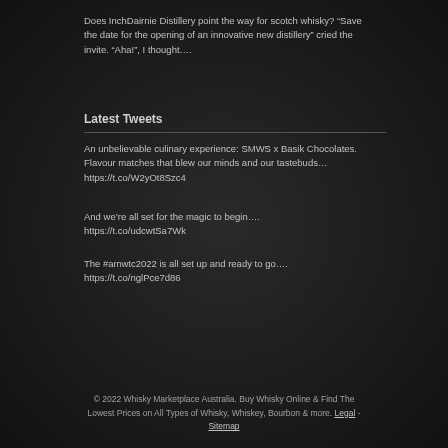Does InchDairnie Distillery point the way for scotch whisky? “Save the date for the opening of an innovative new distillery” cried the invite. “Aha!”, I thought....
Latest Tweets
An unbelievable culinary experience: SMWS x Basik Chocolates. Flavour matches that blew our minds and our tastebuds… https://t.co/W2yOt8Szc4
And we’re all set for the magic to begin….
https://t.co/udcwtSa7Wk
The #amwtc2022 is all set up and ready to go….
https://t.co/nglPce7d86
© 2022 Whisky Marketplace Australia. Buy Whisky Online & Find The Lowest Prices on All Types of Whisky, Whiskey, Bourbon & more. Legal - Sitemap